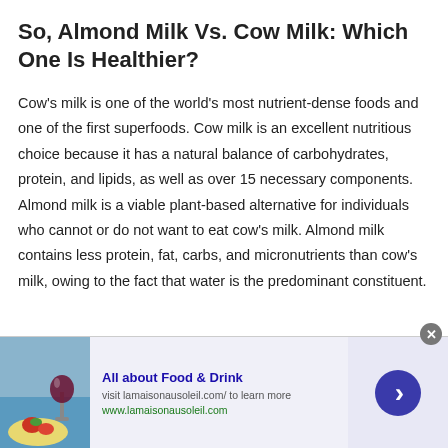So, Almond Milk Vs. Cow Milk: Which One Is Healthier?
Cow's milk is one of the world's most nutrient-dense foods and one of the first superfoods. Cow milk is an excellent nutritious choice because it has a natural balance of carbohydrates, protein, and lipids, as well as over 15 necessary components. Almond milk is a viable plant-based alternative for individuals who cannot or do not want to eat cow's milk. Almond milk contains less protein, fat, carbs, and micronutrients than cow's milk, owing to the fact that water is the predominant constituent.
[Figure (infographic): Advertisement banner: food and drink themed image on left, 'All about Food & Drink' ad text with visit lamaisonausoleil.com link, and a blue arrow circle button on the right.]